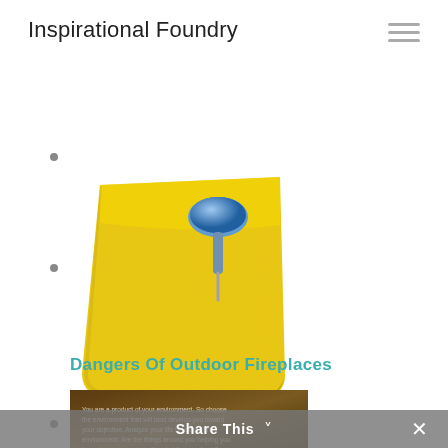Inspirational Foundry
[Figure (illustration): A yellow sticky note pinned with a blue thumbtack, 3D icon style]
Dangers Of Outdoor Fireplaces
[Figure (photo): Dark brown/amber toned image with small text overlay reading: You are a product of your environment. So choose the environment that will best develop you toward your objective. Analyze your life in terms of its environment. Are the things around you helping you toward success - or are they holding you back?]
Share This ✓ ✕